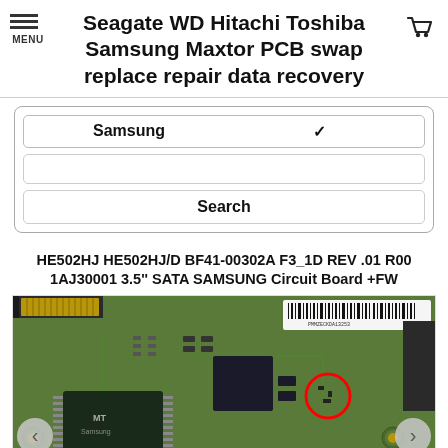Seagate WD Hitachi Toshiba Samsung Maxtor PCB swap replace repair data recovery
HE502HJ HE502HJ/D BF41-00302A F3_1D REV .01 R00 1AJ30001 3.5'' SATA SAMSUNG Circuit Board +FW
[Figure (photo): Close-up photograph of a Samsung hard drive PCB (circuit board) showing a green PCB with chips, connectors, barcode label reading PMMZECKDA13253, and a red circle highlighting a specific component area.]